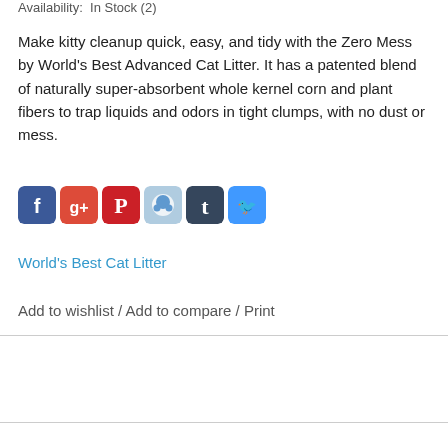Availability:  In Stock (2)
Make kitty cleanup quick, easy, and tidy with the Zero Mess by World's Best Advanced Cat Litter. It has a patented blend of naturally super-absorbent whole kernel corn and plant fibers to trap liquids and odors in tight clumps, with no dust or mess.
[Figure (other): Social media share icons: Facebook, Google+, Pinterest, Reddit, Tumblr, Twitter]
World's Best Cat Litter
Add to wishlist / Add to compare / Print